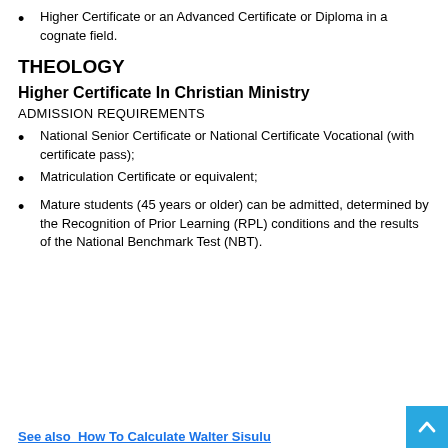Higher Certificate or an Advanced Certificate or Diploma in a cognate field.
THEOLOGY
Higher Certificate In Christian Ministry
ADMISSION REQUIREMENTS
National Senior Certificate or National Certificate Vocational (with certificate pass);
Matriculation Certificate or equivalent;
Mature students (45 years or older) can be admitted, determined by the Recognition of Prior Learning (RPL) conditions and the results of the National Benchmark Test (NBT).
See also  How To Calculate Walter Sisulu